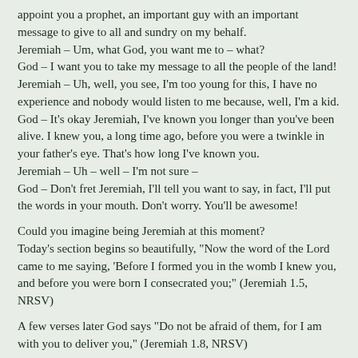appoint you a prophet, an important guy with an important message to give to all and sundry on my behalf.
Jeremiah – Um, what God, you want me to – what?
God – I want you to take my message to all the people of the land!
Jeremiah – Uh, well, you see, I'm too young for this, I have no experience and nobody would listen to me because, well, I'm a kid.
God – It's okay Jeremiah, I've known you longer than you've been alive. I knew you, a long time ago, before you were a twinkle in your father's eye. That's how long I've known you.
Jeremiah – Uh – well – I'm not sure –
God – Don't fret Jeremiah, I'll tell you want to say, in fact, I'll put the words in your mouth. Don't worry. You'll be awesome!
Could you imagine being Jeremiah at this moment?
Today's section begins so beautifully, "Now the word of the Lord came to me saying, 'Before I formed you in the womb I knew you, and before you were born I consecrated you;" (Jeremiah 1.5, NRSV)
A few verses later God says "Do not be afraid of them, for I am with you to deliver you," (Jeremiah 1.8, NRSV)
God it really comes to mind in Jeremiah's mouth...